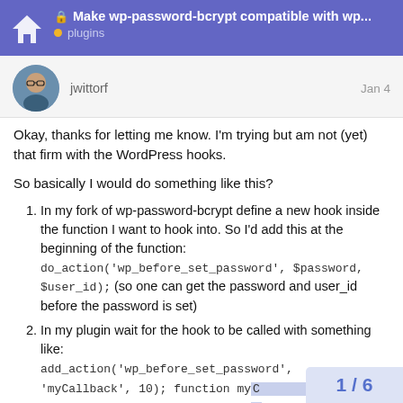Make wp-password-bcrypt compatible with wp... plugins
jwittorf  Jan 4
Okay, thanks for letting me know. I'm trying but am not (yet) that firm with the WordPress hooks.
So basically I would do something like this?
In my fork of wp-password-bcrypt define a new hook inside the function I want to hook into. So I'd add this at the beginning of the function:
do_action('wp_before_set_password', $password, $user_id); (so one can get the password and user_id before the password is set)
In my plugin wait for the hook to be called with something like:
add_action('wp_before_set_password', 'myCallback', 10); function myC...
/* do something with the $pw *...